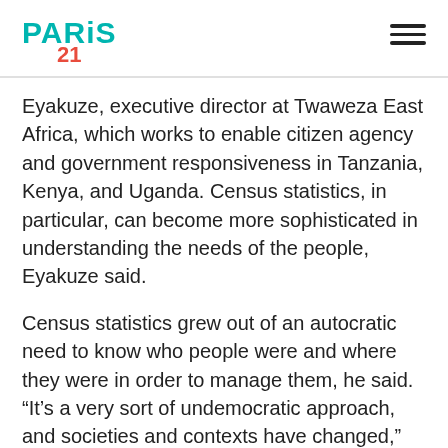PARIS 21
Eyakuze, executive director at Twaweza East Africa, which works to enable citizen agency and government responsiveness in Tanzania, Kenya, and Uganda. Census statistics, in particular, can become more sophisticated in understanding the needs of the people, Eyakuze said.
Census statistics grew out of an autocratic need to know who people were and where they were in order to manage them, he said. “It’s a very sort of undemocratic approach, and societies and contexts have changed,” added Eyakuze, who sees room for statistical rigor alongside a dedication to better understanding the unique contexts, desires, and